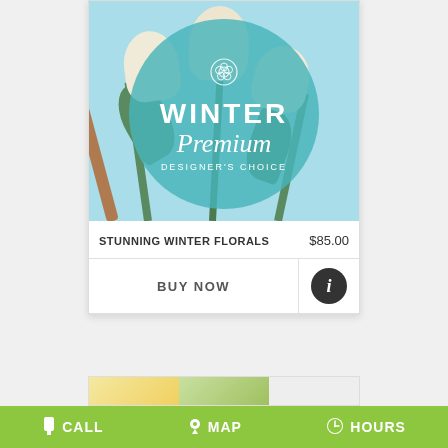[Figure (photo): Winter Premium Designer's Choice flower arrangement product card with white tulips on light blue background and teal circular overlay with rose icon and text]
STUNNING WINTER FLORALS    $85.00
BUY NOW
[Figure (photo): Partial view of next product card showing yellow and green flowers]
CALL    MAP    HOURS